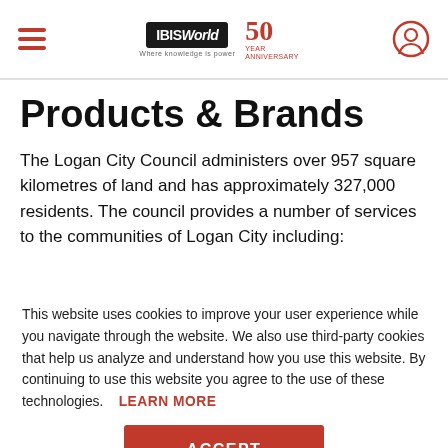IBISWorld 50th Anniversary header navigation bar
Products & Brands
The Logan City Council administers over 957 square kilometres of land and has approximately 327,000 residents. The council provides a number of services to the communities of Logan City including:
This website uses cookies to improve your user experience while you navigate through the website. We also use third-party cookies that help us analyze and understand how you use this website. By continuing to use this website you agree to the use of these technologies. LEARN MORE
ACCEPT